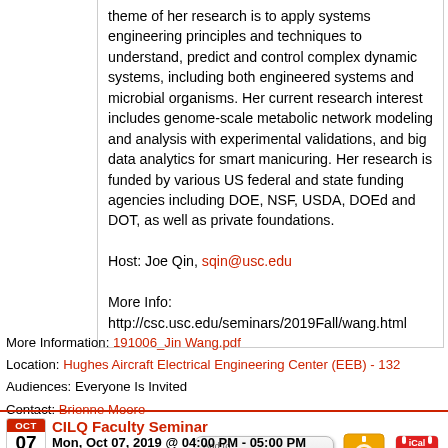theme of her research is to apply systems engineering principles and techniques to understand, predict and control complex dynamic systems, including both engineered systems and microbial organisms. Her current research interest includes genome-scale metabolic network modeling and analysis with experimental validations, and big data analytics for smart manicuring. Her research is funded by various US federal and state funding agencies including DOE, NSF, USDA, DOEd and DOT, as well as private foundations.

Host: Joe Qin, sqin@usc.edu

More Info: http://csc.usc.edu/seminars/2019Fall/wang.html
More Information: 191006_Jin Wang.pdf
Location: Hughes Aircraft Electrical Engineering Center (EEB) - 132
Audiences: Everyone Is Invited
Contact: Brienne Moore
[Figure (other): Add to Google Calendar button, Outlook calendar icon, and iCal icon]
Oct 07 CILQ Faculty Seminar Mon, Oct 07, 2019 @ 04:00 PM - 05:00 PM